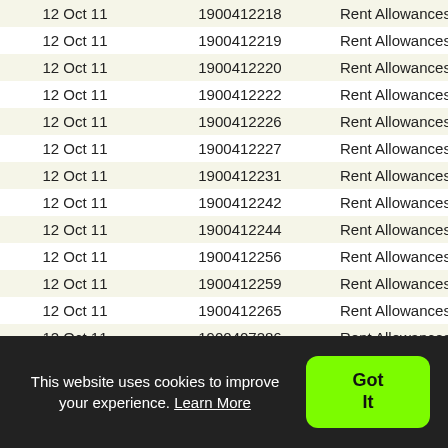| Date | Reference | Category |
| --- | --- | --- |
| 12 Oct 11 | 1900412218 | Rent Allowances |
| 12 Oct 11 | 1900412219 | Rent Allowances |
| 12 Oct 11 | 1900412220 | Rent Allowances |
| 12 Oct 11 | 1900412222 | Rent Allowances |
| 12 Oct 11 | 1900412226 | Rent Allowances |
| 12 Oct 11 | 1900412227 | Rent Allowances |
| 12 Oct 11 | 1900412231 | Rent Allowances |
| 12 Oct 11 | 1900412242 | Rent Allowances |
| 12 Oct 11 | 1900412244 | Rent Allowances |
| 12 Oct 11 | 1900412256 | Rent Allowances |
| 12 Oct 11 | 1900412259 | Rent Allowances |
| 12 Oct 11 | 1900412265 | Rent Allowances |
| 12 Oct 11 | 1900407286 | Rent Allowances |
This website uses cookies to improve your experience. Learn More